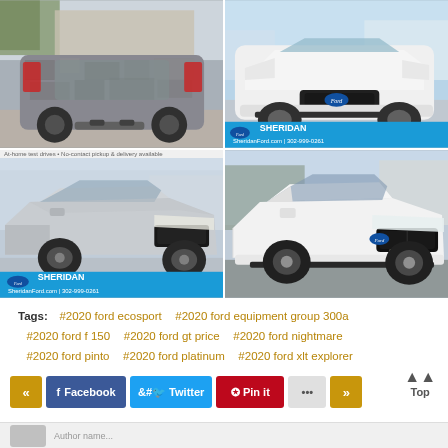[Figure (photo): Four photos of Ford Escape/SUV vehicles in a 2x2 grid. Top-left: camouflaged SUV rear view in winter parking lot. Top-right: White Ford SUV front view with Sheridan Ford dealership branding and website SheridanFord.com | 302-999-0261. Bottom-left: Silver Ford Escape front 3/4 view with Sheridan Ford branding. Bottom-right: White Ford Escape front 3/4 view in dealership lot.]
Tags:  #2020 ford ecosport  #2020 ford equipment group 300a  #2020 ford f 150  #2020 ford gt price  #2020 ford nightmare  #2020 ford pinto  #2020 ford platinum  #2020 ford xlt explorer
« Facebook Twitter Pin it ••• »